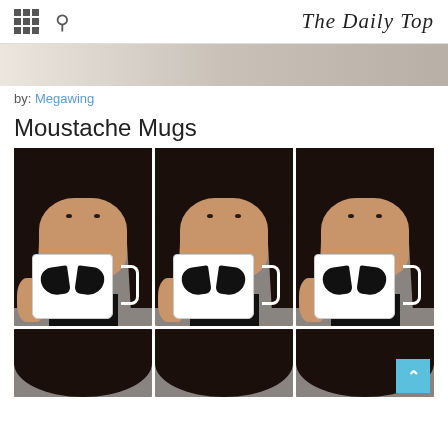The Daily Top
[Figure (photo): Faded banner strip at top of article]
by: Megawing
Moustache Mugs
[Figure (photo): Three photos side by side of a woman with long dark hair drinking from white moustache mugs against a grey background]
[Figure (photo): Bottom row of three partial photos showing tops of heads with dark hair, partially cut off]